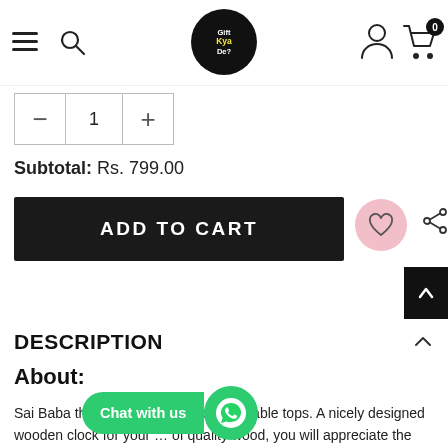Gift Kya De? — navigation bar with hamburger, search, logo, user, cart (0)
- 1 +
Subtotal:  Rs. 799.00
ADD TO CART
DESCRIPTION
About:
Sai Baba theme-based  wall clock for table tops. A nicely designed wooden clock for your … of quality wood, you will appreciate the product's quality and feel the